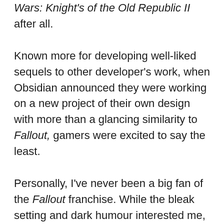Wars: Knight's of the Old Republic II after all.
Known more for developing well-liked sequels to other developer's work, when Obsidian announced they were working on a new project of their own design with more than a glancing similarity to Fallout, gamers were excited to say the least.
Personally, I've never been a big fan of the Fallout franchise. While the bleak setting and dark humour interested me, the clunky gameplay, tedious inventory management, overabundant fetch quests, and litany of bugs and gli[tches] present in virtually all of the titles [were] more than enough to turn me off of the